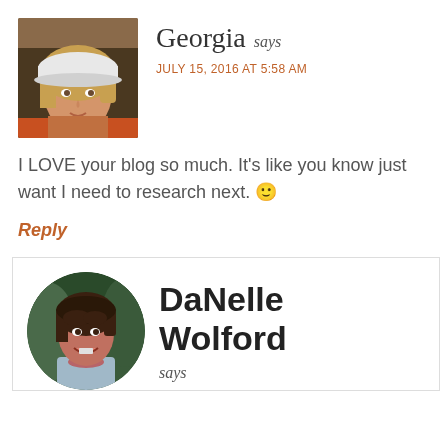[Figure (photo): Profile photo of Georgia - a young woman with blonde hair wearing a white cap, outdoor setting]
Georgia says
JULY 15, 2016 AT 5:58 AM
I LOVE your blog so much. It's like you know just want I need to research next. 🙂
Reply
[Figure (photo): Circular profile photo of DaNelle Wolford - a young woman with dark short hair, smiling, wearing a light blue top with floral necklace]
DaNelle Wolford says